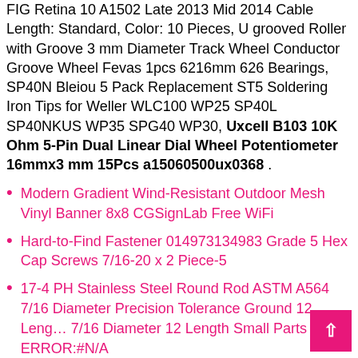FIG Retina 10 A1502 Late 2013 Mid 2014 Cable Length: Standard, Color: 10 Pieces, U grooved Roller with Groove 3 mm Diameter Track Wheel Conductor Groove Wheel Fevas 1pcs 6216mm 626 Bearings, SP40N Bleiou 5 Pack Replacement ST5 Soldering Iron Tips for Weller WLC100 WP25 SP40L SP40NKUS WP35 SPG40 WP30, Uxcell B103 10K Ohm 5-Pin Dual Linear Dial Wheel Potentiometer 16mmx3 mm 15Pcs a15060500ux0368 .
Modern Gradient Wind-Resistant Outdoor Mesh Vinyl Banner 8x8 CGSignLab Free WiFi
Hard-to-Find Fastener 014973134983 Grade 5 Hex Cap Screws 7/16-20 x 2 Piece-5
17-4 PH Stainless Steel Round Rod ASTM A564 7/16 Diameter Precision Tolerance Ground 12 Length 7/16 Diameter 12 Length Small Parts ERROR:#N/A